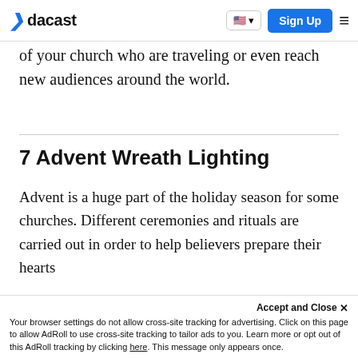dacast | Sign Up
of your church who are traveling or even reach new audiences around the world.
7 Advent Wreath Lighting
Advent is a huge part of the holiday season for some churches. Different ceremonies and rituals are carried out in order to help believers prepare their hearts for the birth of Jesus.
Accept and Close ✕ Your browser settings do not allow cross-site tracking for advertising. Click on this page to allow AdRoll to use cross-site tracking to tailor ads to you. Learn more or opt out of this AdRoll tracking by clicking here. This message only appears once.